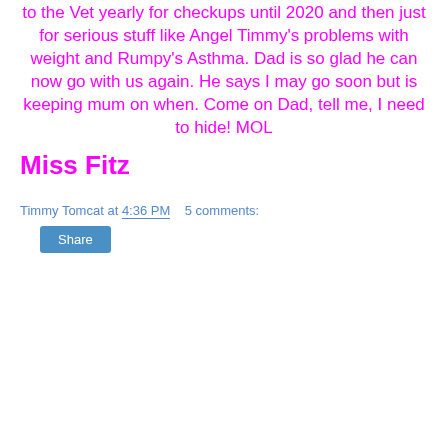to the Vet yearly for checkups until 2020 and then just for serious stuff like Angel Timmy's problems with weight and Rumpy's Asthma. Dad is so glad he can now go with us again. He says I may go soon but is keeping mum on when. Come on Dad, tell me, I need to hide! MOL
Miss Fitz
Timmy Tomcat at 4:36 PM   5 comments:
Share